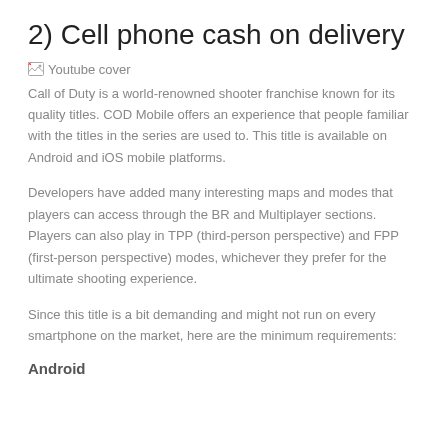2) Cell phone cash on delivery
[Figure (illustration): Broken image placeholder labeled 'Youtube cover']
Call of Duty is a world-renowned shooter franchise known for its quality titles. COD Mobile offers an experience that people familiar with the titles in the series are used to. This title is available on Android and iOS mobile platforms.
Developers have added many interesting maps and modes that players can access through the BR and Multiplayer sections. Players can also play in TPP (third-person perspective) and FPP (first-person perspective) modes, whichever they prefer for the ultimate shooting experience.
Since this title is a bit demanding and might not run on every smartphone on the market, here are the minimum requirements:
Android